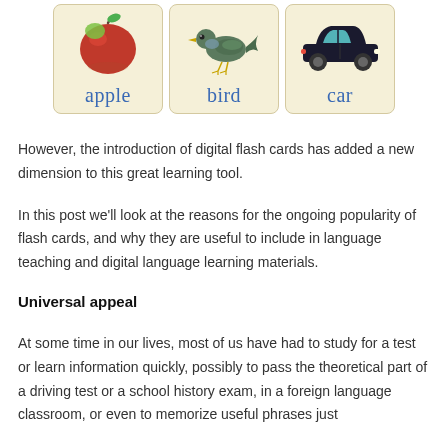[Figure (illustration): Three vintage-style educational flashcards side by side: first card shows a red apple illustration with the word 'apple' in blue below, second card shows a bird illustration with the word 'bird' in blue below, third card shows a black car illustration with the word 'car' in blue below.]
However, the introduction of digital flash cards has added a new dimension to this great learning tool.
In this post we'll look at the reasons for the ongoing popularity of flash cards, and why they are useful to include in language teaching and digital language learning materials.
Universal appeal
At some time in our lives, most of us have had to study for a test or learn information quickly, possibly to pass the theoretical part of a driving test or a school history exam, in a foreign language classroom, or even to memorize useful phrases just